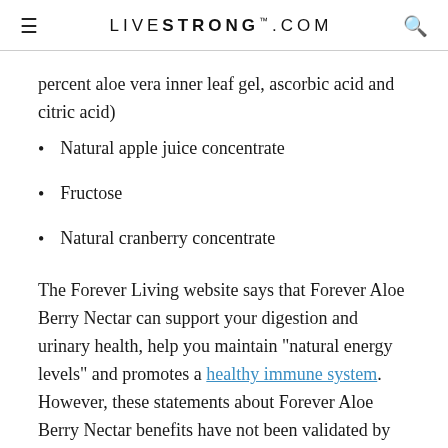LIVESTRONG.COM
percent aloe vera inner leaf gel, ascorbic acid and citric acid)
Natural apple juice concentrate
Fructose
Natural cranberry concentrate
The Forever Living website says that Forever Aloe Berry Nectar can support your digestion and urinary health, help you maintain "natural energy levels" and promotes a healthy immune system. However, these statements about Forever Aloe Berry Nectar benefits have not been validated by the FDA.